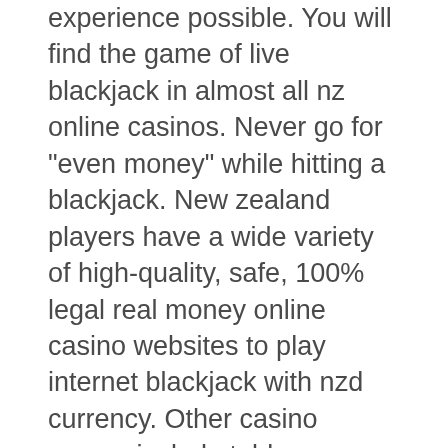experience possible. You will find the game of live blackjack in almost all nz online casinos. Never go for "even money" while hitting a blackjack. New zealand players have a wide variety of high-quality, safe, 100% legal real money online casino websites to play internet blackjack with nzd currency. Other casino games include table games like blackjack, roulette, poker, sic bo,. Om nz account, make a deposit and start playing online blackjack for real money today. The award-winning online casino at mr green. These bonuses allow you to play for free without risking your own money. The result is a great selection of blackjack, roulette, baccarat, poker, money wheel and other fun live casino games new zealand players can play. If you're looking for online casino nz reviews for april 2022, we've got them all! use our expert guides to find the best online casino and online pokies. For